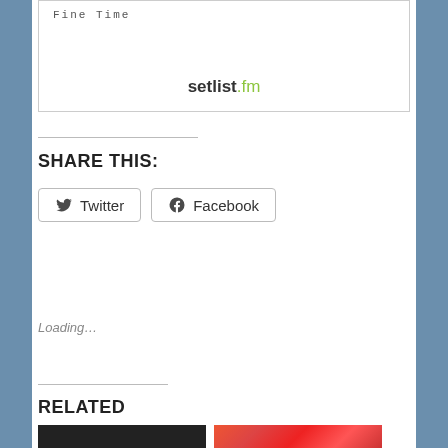[Figure (screenshot): Setlist.fm embedded widget showing 'Fine Time' with setlist.fm branding]
SHARE THIS:
Twitter
Facebook
Loading...
RELATED
[Figure (photo): Dark thumbnail image (related post)]
[Figure (photo): Pink/red thumbnail image (related post)]